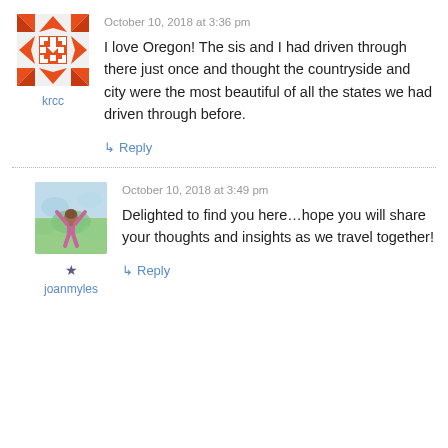[Figure (illustration): Red geometric diamond/cross pattern avatar for user krcc]
krcc
October 10, 2018 at 3:36 pm
I love Oregon! The sis and I had driven through there just once and thought the countryside and city were the most beautiful of all the states we had driven through before.
↳ Reply
[Figure (illustration): Watercolor painting photo of a person with arms raised outdoors, avatar for user joanmyles]
★
joanmyles
October 10, 2018 at 3:49 pm
Delighted to find you here...hope you will share your thoughts and insights as we travel together!
↳ Reply